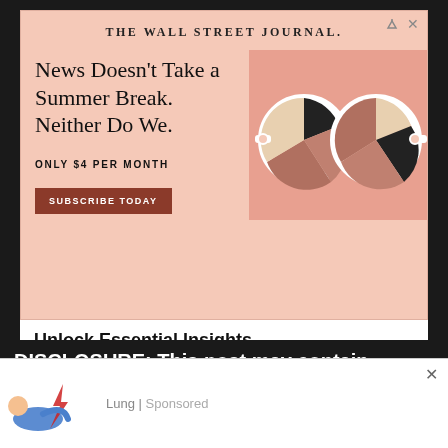[Figure (illustration): WSJ advertisement banner with salmon/peach background. Shows WSJ logo at top, headline 'News Doesn't Take a Summer Break. Neither Do We.' on left, illustrated sunglasses with pie chart lenses on right, price 'ONLY $4 PER MONTH' and 'SUBSCRIBE TODAY' button.]
Unlock Essential Insights
This Summer, Add WSJ to Your Reading List for only $4 per month.
OPEN
Ad
DISCLOSURE: This post may contain affiliate
[Figure (illustration): Bottom ad showing cartoon illustration of person lying down with lightning bolt, text 'Lung | Sponsored']